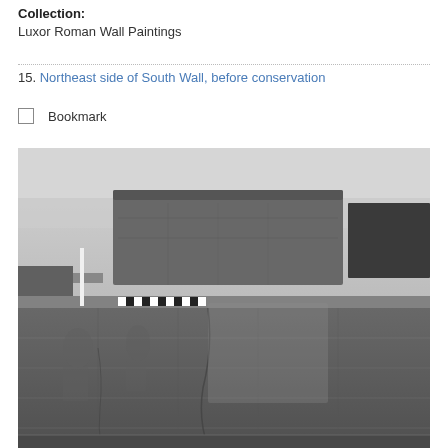Collection:
Luxor Roman Wall Paintings
15. Northeast side of South Wall, before conservation
Bookmark
[Figure (photo): Black and white photograph of the northeast side of a South Wall before conservation, showing ancient stone wall sections with carved reliefs, a measurement scale bar visible in the middle section.]